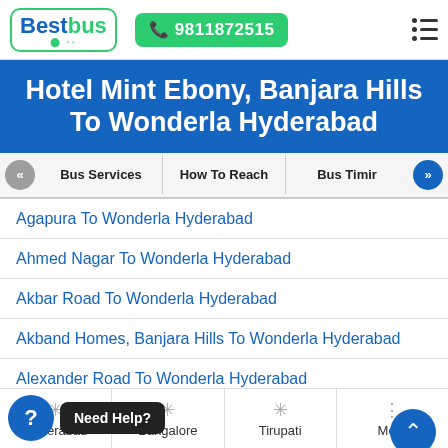[Figure (logo): BestBus logo with green border, phone icon and number 9811872515, hamburger menu icon]
Hotel Mint Ebony, Banjara Hills To Wonderla Hyderabad
Bus Services | How To Reach | Bus Timir
Agapura To Wonderla Hyderabad
Ahmed Nagar To Wonderla Hyderabad
Akbar Road To Wonderla Hyderabad
Akband Homes, Banjara Hills To Wonderla Hyderabad
Alexander Road To Wonderla Hyderabad
ad To Wonderla Hyderabad
Alpino Glow Crest, Banjara Hills To Wonderla
Need Help?
Hyderabad | Bangalore | Tirupati | More